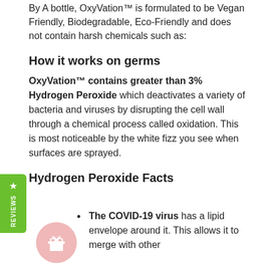By A bottle, OxyVation™ is formulated to be Vegan Friendly, Biodegradable, Eco-Friendly and does not contain harsh chemicals such as:
How it works on germs
OxyVation™ contains greater than 3% Hydrogen Peroxide which deactivates a variety of bacteria and viruses by disrupting the cell wall through a chemical process called oxidation. This is most noticeable by the white fizz you see when surfaces are sprayed.
Hydrogen Peroxide Facts
The COVID-19 virus has a lipid envelope around it. This allows it to merge with other cells to further boost the virus